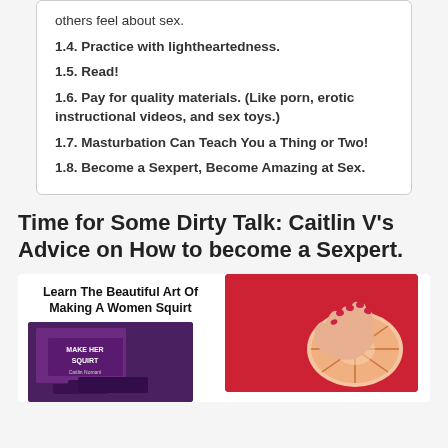others feel about sex.
1.4. Practice with lightheartedness.
1.5. Read!
1.6. Pay for quality materials. (Like porn, erotic instructional videos, and sex toys.)
1.7. Masturbation Can Teach You a Thing or Two!
1.8. Become a Sexpert, Become Amazing at Sex.
Time for Some Dirty Talk: Caitlin V's Advice on How to become a Sexpert.
[Figure (infographic): Advertisement with two parts: left side shows text 'Learn The Beautiful Art Of Making A Women Squirt' with a product mockup on dark purple background labeled 'MAKE HER SQUIRT'; right side shows a photo of hands holding a grapefruit slice against a red background.]